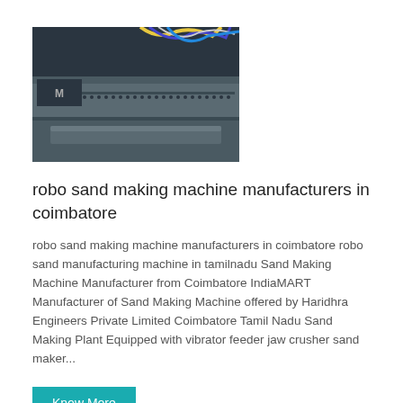[Figure (photo): Close-up photo of industrial machinery showing metal components, wiring, and a vibrator/conveyor feeder mechanism]
robo sand making machine manufacturers in coimbatore
robo sand making machine manufacturers in coimbatore robo sand manufacturing machine in tamilnadu Sand Making Machine Manufacturer from Coimbatore IndiaMART Manufacturer of Sand Making Machine offered by Haridhra Engineers Private Limited Coimbatore Tamil Nadu Sand Making Plant Equipped with vibrator feeder jaw crusher sand maker...
Know More